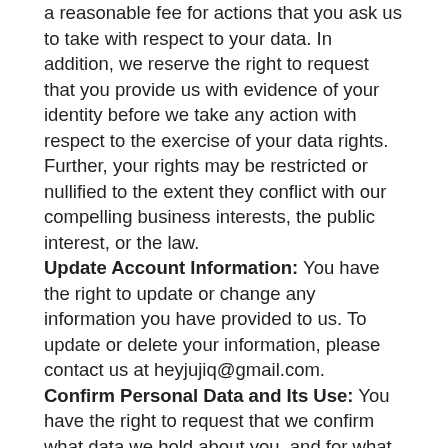a reasonable fee for actions that you ask us to take with respect to your data. In addition, we reserve the right to request that you provide us with evidence of your identity before we take any action with respect to the exercise of your data rights. Further, your rights may be restricted or nullified to the extent they conflict with our compelling business interests, the public interest, or the law. Update Account Information: You have the right to update or change any information you have provided to us. To update or delete your information, please contact us at heyjujiq@gmail.com. Confirm Personal Data and Its Use: You have the right to request that we confirm what data we hold about you, and for what purposes. You also have the right to confirmation of whether we process your data or deliver your data to third party processors, and for what purposes. We will supply you with copies of your personal data unless doing so would affect the rights